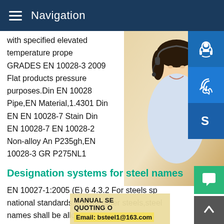Navigation
with specified elevated temperature prope GRADES EN 10028-3 2009 Flat products pressure purposes.Din EN 10028 Pipe,EN Material,1.4301 Din EN EN 10028-7 Stain Din EN 10028-7 EN 10028-2 Non-alloy An P235gh,EN 10028-3 GR P275NL1
Designation systems for steel names
EN 10027-1:2005 (E) 6 4.3.2 For steels sp national standards and for other steels,steel names shall be allocated by or under the responsibility ofDIN EN 10088-3 - European StandardsHomepage din en 10028 3 steelgt;DIN Standards din en 10028 3 steelgt; DIN EN 10088-3 Stainless s - Part 3 Technical delivery conditions for semi-finished products bars rods wire sections and bright products of corros